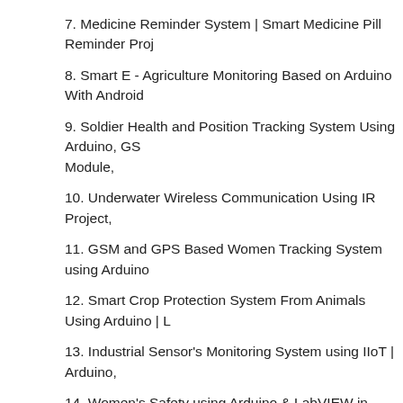7. Medicine Reminder System | Smart Medicine Pill Reminder Proj
8. Smart E - Agriculture Monitoring Based on Arduino With Android
9. Soldier Health and Position Tracking System Using Arduino, GS Module,
10. Underwater Wireless Communication Using IR Project,
11. GSM and GPS Based Women Tracking System using Arduino
12. Smart Crop Protection System From Animals Using Arduino | L
13. Industrial Sensor's Monitoring System using IIoT | Arduino,
14. Women's Safety using Arduino & LabVIEW in Web Browser | G in Default Browser VI,
15. Arduino Dual (Voice + Button) Control Pick and Place Bluetooth App,